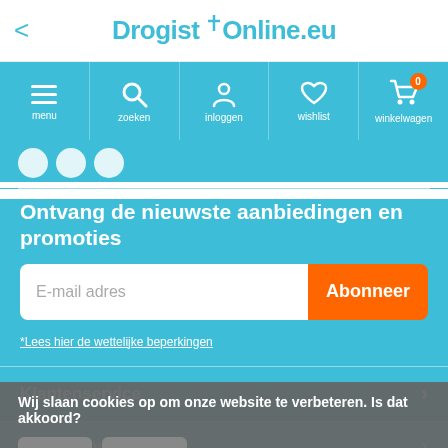DrogistOnline.eu
[Figure (screenshot): Navigation bar with menu, zoeken, inloggen, wishlist, winkelwagen icons on cyan background]
Ontvang de nieuwste aanbiedingen en promoties
[Figure (screenshot): Email input field with placeholder 'E-mail adres' and orange Abonneer button]
* Lees hier de wettelijke beperkingen
Klantenservice
Mijn account
Wij slaan cookies op om onze website te verbeteren. Is dat akkoord?
Categ...
Contact